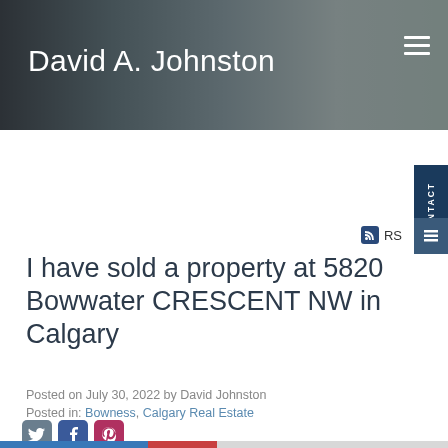[Figure (photo): Header banner with kitchen/living room interior photo, dark overlay]
David A. Johnston
RSS
I have sold a property at 5820 Bowwater CRESCENT NW in Calgary
Posted on July 30, 2022 by David Johnston
Posted in: Bowness, Calgary Real Estate
[Figure (illustration): Social share icons: Twitter, Facebook, Pinterest]